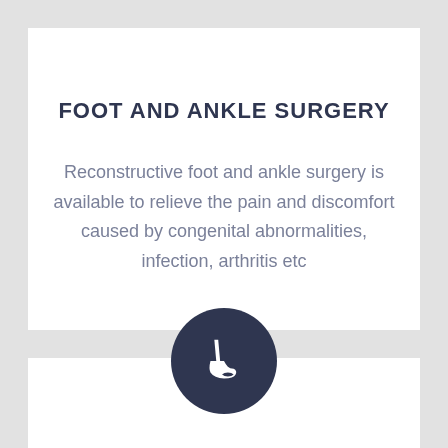FOOT AND ANKLE SURGERY
Reconstructive foot and ankle surgery is available to relieve the pain and discomfort caused by congenital abnormalities, infection, arthritis etc
[Figure (illustration): Dark navy circular icon with a white foot/ankle silhouette symbol centered within it]